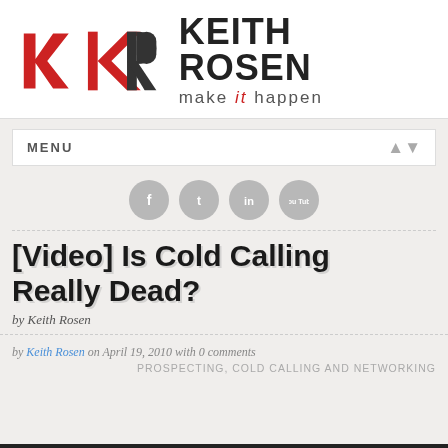[Figure (logo): Keith Rosen KR logo with red angular KR monogram and text 'KEITH ROSEN make it happen']
MENU
[Figure (illustration): Four circular social media icons: Facebook, Twitter, LinkedIn, YouTube in grey]
[Video] Is Cold Calling Really Dead?
by Keith Rosen
by Keith Rosen on April 19, 2010 with 0 comments
PROSPECTING, COLD CALLING AND NETWORKING